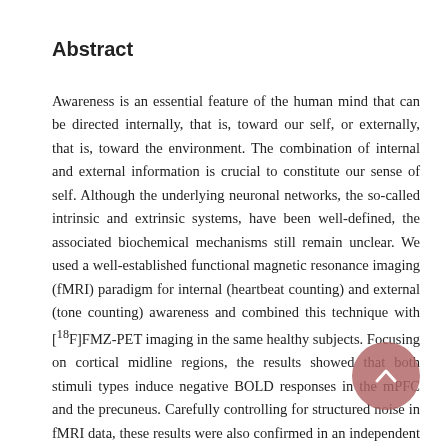Abstract
Awareness is an essential feature of the human mind that can be directed internally, that is, toward our self, or externally, that is, toward the environment. The combination of internal and external information is crucial to constitute our sense of self. Although the underlying neuronal networks, the so-called intrinsic and extrinsic systems, have been well-defined, the associated biochemical mechanisms still remain unclear. We used a well-established functional magnetic resonance imaging (fMRI) paradigm for internal (heartbeat counting) and external (tone counting) awareness and combined this technique with [¹⁸F]FMZ-PET imaging in the same healthy subjects. Focusing on cortical midline regions, the results showed that both stimuli types induce negative BOLD responses in the mPFC and the precuneus. Carefully controlling for structured noise in fMRI data, these results were also confirmed in an independent data sample using the same paradigm. Moreover, the degree of the GABA_A receptor binding potential within these regions was correlated with the neuronal activity changes associated with